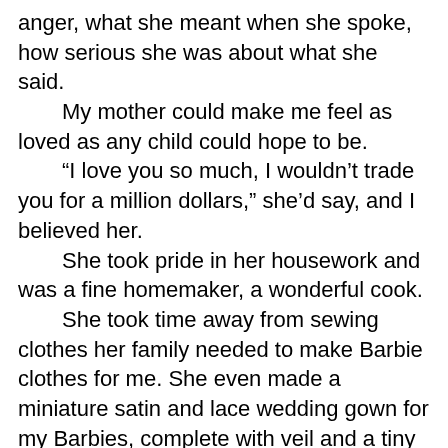anger, what she meant when she spoke, how serious she was about what she said.
	My mother could make me feel as loved as any child could hope to be.
	“I love you so much, I wouldn’t trade you for a million dollars,” she’d say, and I believed her.
	She took pride in her housework and was a fine homemaker, a wonderful cook.
	She took time away from sewing clothes her family needed to make Barbie clothes for me. She even made a miniature satin and lace wedding gown for my Barbies, complete with veil and a tiny string of faux pearls.
	She often allowed me to read instead of helping with chores, and she made sure I had plenty of opportunities to visit the public library.
	My mother also told me I was lazy and selfish. I was shy, and she said sometimes said I acted “like a lump on a log.” She smacked me in the face. She told me